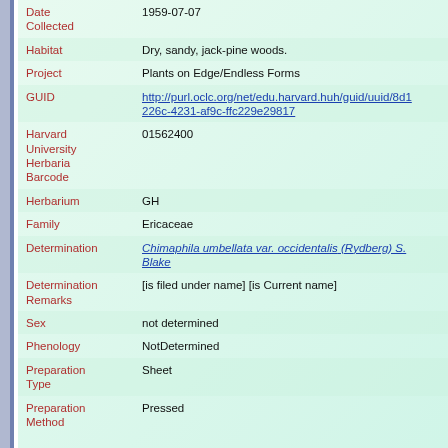| Field | Value |
| --- | --- |
| Date Collected | 1959-07-07 |
| Habitat | Dry, sandy, jack-pine woods. |
| Project | Plants on Edge/Endless Forms |
| GUID | http://purl.oclc.org/net/edu.harvard.huh/guid/uuid/8d1226c-4231-af9c-ffc229e29817 |
| Harvard University Herbaria Barcode | 01562400 |
| Herbarium | GH |
| Family | Ericaceae |
| Determination | Chimaphila umbellata var. occidentalis (Rydberg) S. Blake |
| Determination Remarks | [is filed under name] [is Current name] |
| Sex | not determined |
| Phenology | NotDetermined |
| Preparation Type | Sheet |
| Preparation Method | Pressed |